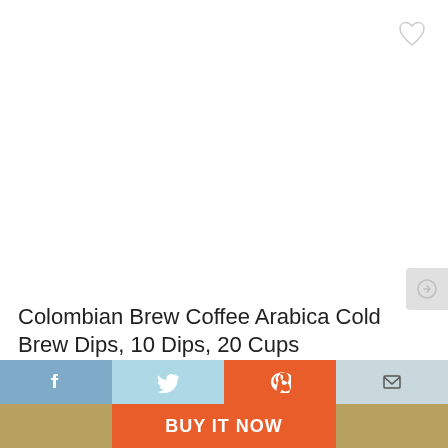[Figure (other): Heart/wishlist icon button in top right corner, outlined heart shape in light gray]
[Figure (other): Scroll/navigation button on right side, light gray rounded rectangle with arrow or icon]
Colombian Brew Coffee Arabica Cold Brew Dips, 10 Dips, 20 Cups
[Figure (other): Bottom navigation bar with social sharing buttons: Facebook (blue), Twitter (light blue), Pinterest (orange-red), Email (gray-blue), and a BUY IT NOW orange center CTA button with tan/gold side panels]